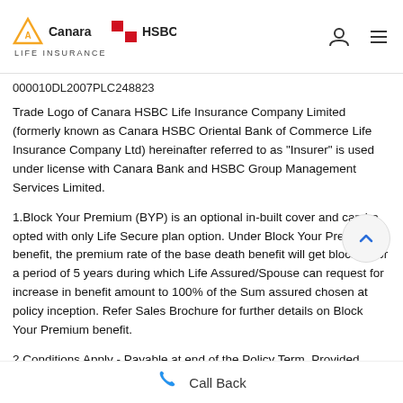Canara HSBC Life Insurance
000010DL2007PLC248823
Trade Logo of Canara HSBC Life Insurance Company Limited (formerly known as Canara HSBC Oriental Bank of Commerce Life Insurance Company Ltd) hereinafter referred to as "Insurer" is used under license with Canara Bank and HSBC Group Management Services Limited.
1.Block Your Premium (BYP) is an optional in-built cover and can be opted with only Life Secure plan option. Under Block Your Premium benefit, the premium rate of the base death benefit will get blocked for a period of 5 years during which Life Assured/Spouse can request for increase in benefit amount to 100% of the Sum assured chosen at policy inception. Refer Sales Brochure for further details on Block Your Premium benefit.
2.Conditions Apply - Payable at end of the Policy Term, Provided
Call Back